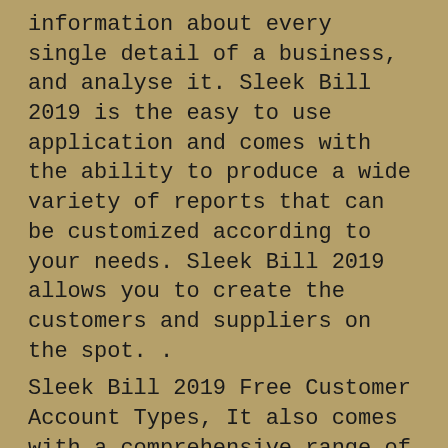information about every single detail of a business, and analyse it. Sleek Bill 2019 is the easy to use application and comes with the ability to produce a wide variety of reports that can be customized according to your needs. Sleek Bill 2019 allows you to create the customers and suppliers on the spot. .
Sleek Bill 2019 Free Customer Account Types, It also comes with a comprehensive range of industry-specific functions, such as payables, receivables, expenses and business income. Sleek Bill 2019 also comes with the ability to calculate the profit margins for each customer.
Sleek Bill 2019 Activation Code